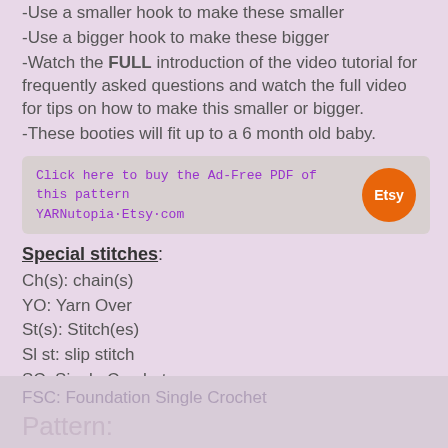-Use a smaller hook to make these smaller
-Use a bigger hook to make these bigger
-Watch the FULL introduction of the video tutorial for frequently asked questions and watch the full video for tips on how to make this smaller or bigger.
-These booties will fit up to a 6 month old baby.
[Figure (infographic): Ad banner with purple monospace text 'Click here to buy the Ad-Free PDF of this pattern' and 'YARNutopia·Etsy·com', with an orange Etsy circle logo on the right]
Special stitches:
Ch(s): chain(s)
YO: Yarn Over
St(s): Stitch(es)
Sl st: slip stitch
SC: Single Crochet
HDC: Half Double Crochet
DC: Double Crochet
FSC: Foundation Single Crochet
Pattern: